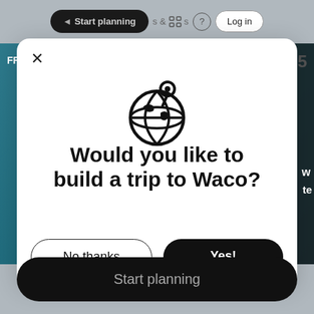Start planning | & activities | ? | Log in
[Figure (screenshot): Travel planning website background with teal/blue strip and partial text FR and 5]
[Figure (illustration): Globe with location pin icon in black outline style]
Would you like to build a trip to Waco?
No thanks
Yes!
Start planning